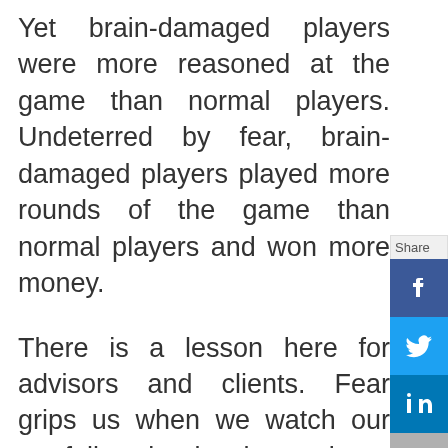Yet brain-damaged players were more reasoned at the game than normal players. Undeterred by fear, brain-damaged players played more rounds of the game than normal players and won more money.
There is a lesson here for advisors and clients. Fear grips us when we watch our portfolios day by day and see so many losing days. Fear grips us even more strongly when we watch losses in our portfolios over many months or even years, as happened in 2008 and early
[Figure (other): Social share sidebar with buttons: Share label, Facebook (blue), Twitter (light blue), LinkedIn (dark blue), Email (grey), Share/general (green), Pinterest (red)]